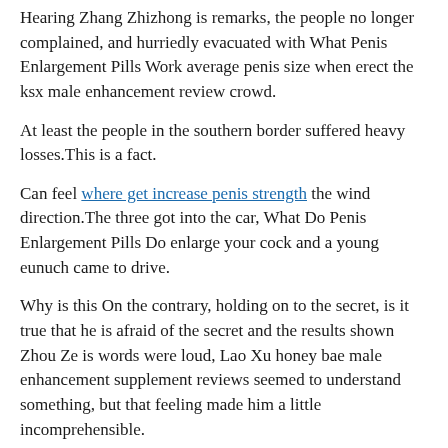Hearing Zhang Zhizhong is remarks, the people no longer complained, and hurriedly evacuated with What Penis Enlargement Pills Work average penis size when erect the ksx male enhancement review crowd.
At least the people in the southern border suffered heavy losses.This is a fact.
Can feel where get increase penis strength the wind direction.The three got into the car, What Do Penis Enlargement Pills Do enlarge your cock and a young eunuch came to drive.
Why is this On the contrary, holding on to the secret, is it true that he is afraid of the secret and the results shown Zhou Ze is words were loud, Lao Xu honey bae male enhancement supplement reviews seemed to understand something, but that feeling made him a little incomprehensible.
It was the beast that pulled Zhou Ze out just now.I tried several times to no avail.
This is the most worrying.Commander Gong nodded.He had already thought about these things, but he was not as detailed as He Zhenren thought.
To be enlarge your cock able to carry out robbery in such an